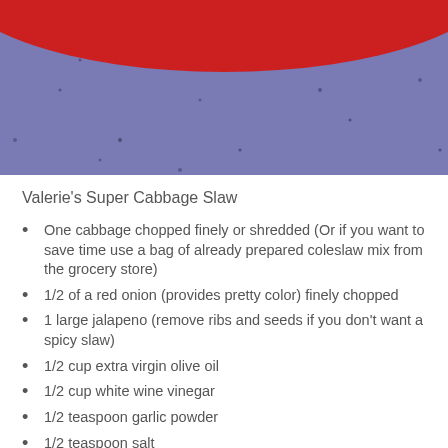[Figure (photo): Close-up photo of a red bowl on a blue/purple speckled granite countertop, showing the bottom arc of the red bowl against the dark stone surface.]
Valerie's Super Cabbage Slaw
One cabbage chopped finely or shredded (Or if you want to save time use a bag of already prepared coleslaw mix from the grocery store)
1/2 of a red onion (provides pretty color) finely chopped
1 large jalapeno (remove ribs and seeds if you don't want a spicy slaw)
1/2 cup extra virgin olive oil
1/2 cup white wine vinegar
1/2 teaspoon garlic powder
1/2 teaspoon salt